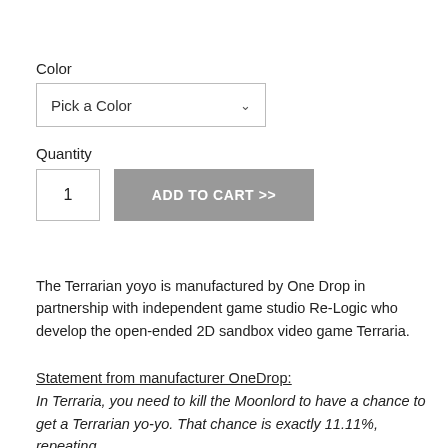Color
Pick a Color
Quantity
1
ADD TO CART >>
The Terrarian yoyo is manufactured by One Drop in partnership with independent game studio Re-Logic who develop the open-ended 2D sandbox video game Terraria.
Statement from manufacturer OneDrop:
In Terraria, you need to kill the Moonlord to have a chance to get a Terrarian yo-yo. That chance is exactly 11.11%, repeating